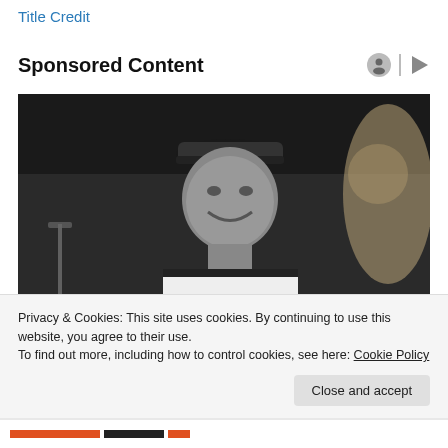Title Credit
Sponsored Content
[Figure (photo): Black and white photo of a man wearing a basketball jersey and a cap, smiling, photographed indoors.]
Privacy & Cookies: This site uses cookies. By continuing to use this website, you agree to their use.
To find out more, including how to control cookies, see here: Cookie Policy
Close and accept